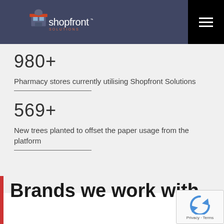[Figure (logo): Shopfront Solutions logo with building icon and text]
980+
Pharmacy stores currently utilising Shopfront Solutions
569+
New trees planted to offset the paper usage from the platform
Brands we work with...